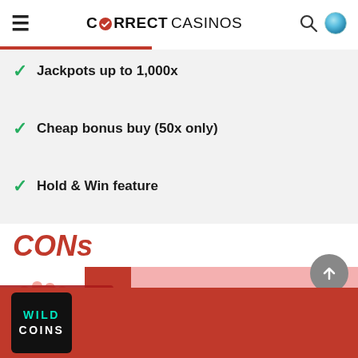CORRECT CASINOS
Jackpots up to 1,000x
Cheap bonus buy (50x only)
Hold & Win feature
CONs
Low RTP (94.75%)
[Figure (illustration): Thumbs down icon with red progress bar indicating CONs section]
Most popular
[Figure (logo): Wild Coins casino logo on black background with teal and white text]